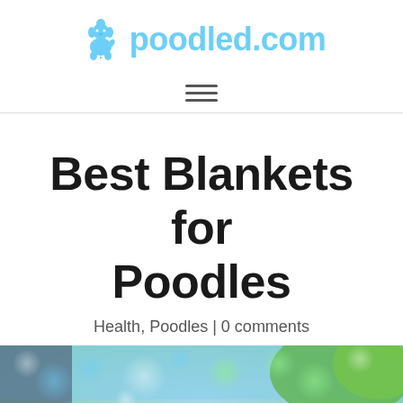[Figure (logo): Poodled.com logo with a light blue cartoon poodle icon and the text 'poodled.com' in light blue]
[Figure (other): Hamburger menu icon (three horizontal lines)]
Best Blankets for Poodles
Health, Poodles | 0 comments
[Figure (photo): Blurred bokeh background photo with a poodle visible at the bottom, outdoor scene with greens and blues]